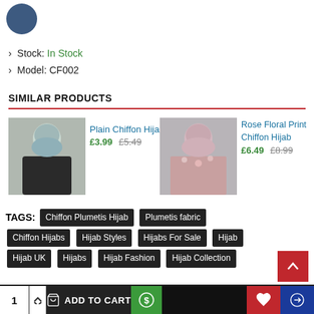[Figure (other): Dark blue circle color swatch in top-left corner]
Stock: In Stock
Model: CF002
SIMILAR PRODUCTS
[Figure (photo): Photo of woman wearing plain grey chiffon hijab]
Plain Chiffon Hijab £3.99 £5.49
[Figure (photo): Photo of woman wearing rose floral print chiffon hijab]
Rose Floral Print Chiffon Hijab £6.49 £8.99
TAGS: Chiffon Plumetis Hijab  Plumetis fabric  Chiffon Hijabs  Hijab Styles  Hijabs For Sale  Hijab  Hijab UK  Hijabs  Hijab Fashion  Hijab Collection
1  ADD TO CART  [dollar icon]  [heart icon]  [transfer icon]